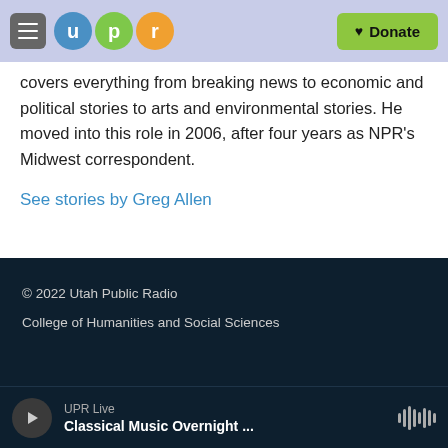UPR – Utah Public Radio | Donate
covers everything from breaking news to economic and political stories to arts and environmental stories. He moved into this role in 2006, after four years as NPR's Midwest correspondent.
See stories by Greg Allen
© 2022 Utah Public Radio
College of Humanities and Social Sciences
UPR Live Classical Music Overnight ...